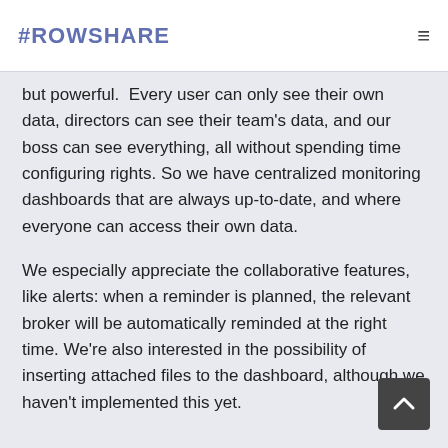#ROWSHARE
but powerful.  Every user can only see their own data, directors can see their team's data, and our boss can see everything, all without spending time configuring rights. So we have centralized monitoring dashboards that are always up-to-date, and where everyone can access their own data.
We especially appreciate the collaborative features, like alerts: when a reminder is planned, the relevant broker will be automatically reminded at the right time. We're also interested in the possibility of inserting attached files to the dashboard, although we haven't implemented this yet.